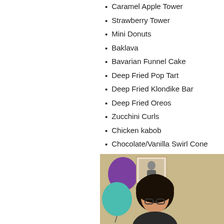Caramel Apple Tower
Strawberry Tower
Mini Donuts
Baklava
Bavarian Funnel Cake
Deep Fried Pop Tart
Deep Fried Klondike Bar
Deep Fried Oreos
Zucchini Curls
Chicken kabob
Chocolate/Vanilla Swirl Cone
I'm not gonna lie… I kind of want to thr
(Round 2 on Friday?)
Tags: food and drink, lists | 1 Commen
Thanks for coming.
Sunday, June 6, 2010
[Figure (photo): Photo showing purple and teal balloons with a person with dark hair wearing glasses, in front of a wall with a framed picture]